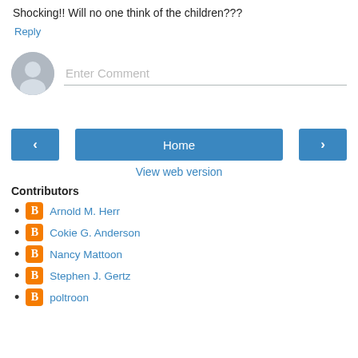Shocking!! Will no one think of the children???
Reply
Enter Comment
Home
View web version
Contributors
Arnold M. Herr
Cokie G. Anderson
Nancy Mattoon
Stephen J. Gertz
poltroon